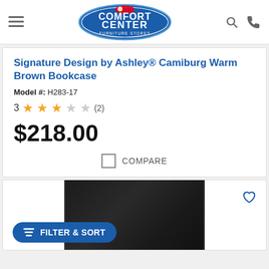[Figure (logo): Comfort Center Furniture Stores logo — white text on blue oval background]
Signature Design by Ashley® Camiburg Warm Brown Bookcase
Model #: H283-17
3 ★★★☆☆ (2)
$218.00
COMPARE
[Figure (photo): Dark brown/black bookcase product image, partially visible]
FILTER & SORT